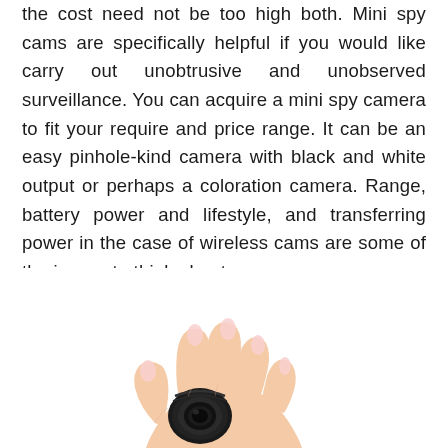the cost need not be too high both. Mini spy cams are specifically helpful if you would like carry out unobtrusive and unobserved surveillance. You can acquire a mini spy camera to fit your require and price range. It can be an easy pinhole-kind camera with black and white output or perhaps a coloration camera. Range, battery power and lifestyle, and transferring power in the case of wireless cams are some of the issues to think about.
[Figure (photo): A hand (with manicured pink nails) holding a small black circular mini spy camera between thumb and fingers, shown against a white background.]